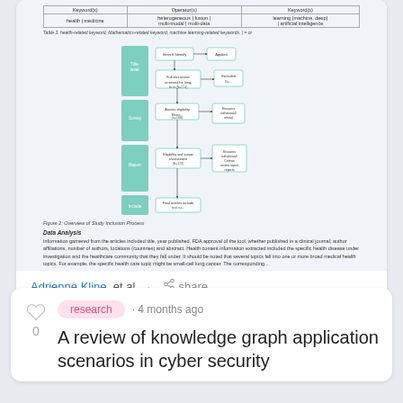| Keyword(s) | Operator(s) | Keyword(s) |
| --- | --- | --- |
| health | medicine | heterogeneous | fusion | multi-modal | multi-data | learning (machine, deep) | artificial intelligence |
Table 3. health-related keyword, Mathematics-related keyword, machine learning-related keywords. | = or
[Figure (flowchart): Overview of Study Inclusion Process flowchart with stages: Title-level, Survey, Report, Include, showing filtering steps and counts]
Figure 2: Overview of Study Inclusion Process
Data Analysis
Information garnered from the articles included title, year published, FDA approval of the tool, whether published in a clinical journal, author affiliations, number of authors, locations (countries) and abstract. Health content information extracted included the specific health disease under investigation and the healthcare community that they fall under. It should be noted that several topics fell into one or more broad medical health topics. For example, the specific health care topic might be small-cell lung cancer. The corresponding...
Adrienne Kline, et al. · share
research · 4 months ago
A review of knowledge graph application scenarios in cyber security